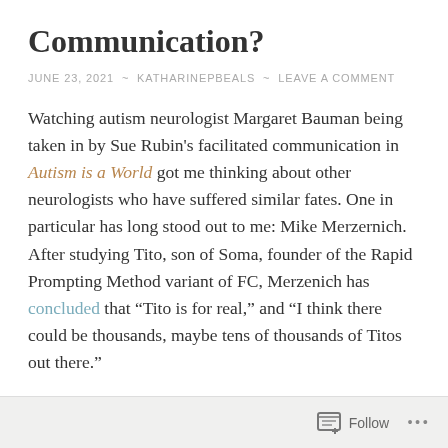Communication?
JUNE 23, 2021 ~ KATHARINEPBEALS ~ LEAVE A COMMENT
Watching autism neurologist Margaret Bauman being taken in by Sue Rubin's facilitated communication in Autism is a World got me thinking about other neurologists who have suffered similar fates. One in particular has long stood out to me: Mike Merzernich. After studying Tito, son of Soma, founder of the Rapid Prompting Method variant of FC, Merzenich has concluded that "Tito is for real," and "I think there could be thousands, maybe tens of thousands of Titos out there."
Follow